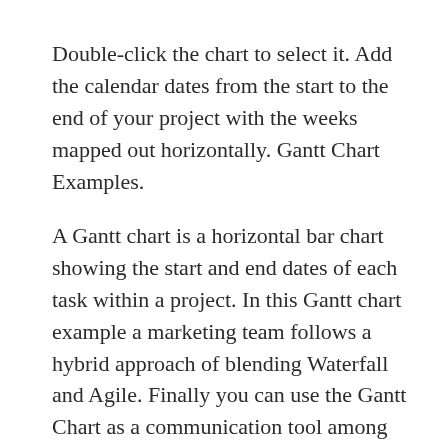Double-click the chart to select it. Add the calendar dates from the start to the end of your project with the weeks mapped out horizontally. Gantt Chart Examples.
A Gantt chart is a horizontal bar chart showing the start and end dates of each task within a project. In this Gantt chart example a marketing team follows a hybrid approach of blending Waterfall and Agile. Finally you can use the Gantt Chart as a communication tool among stakeholders.